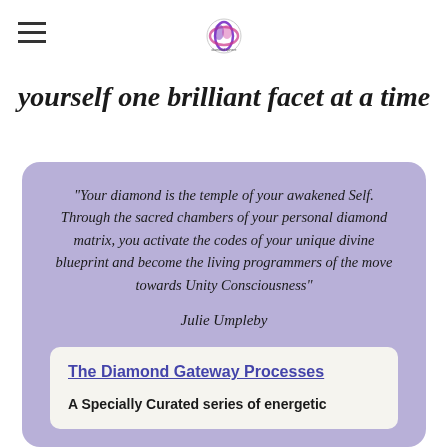[Figure (logo): Navigation hamburger menu and circular logo icon for Diamond Sphere website]
yourself one brilliant facet at a time
"Your diamond is the temple of your awakened Self. Through the sacred chambers of your personal diamond matrix, you activate the codes of your unique divine blueprint and become the living programmers of the move towards Unity Consciousness"
Julie Umpleby
The Diamond Gateway Processes
A Specially Curated series of energetic